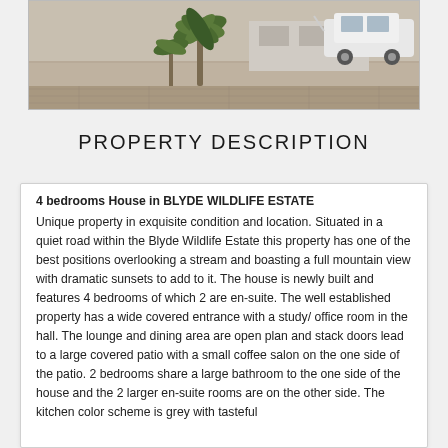[Figure (photo): Outdoor photo showing a property with palm trees and a white car, sandy/paved driveway area, viewed from slightly elevated angle]
PROPERTY DESCRIPTION
4 bedrooms House in BLYDE WILDLIFE ESTATE
Unique property in exquisite condition and location. Situated in a quiet road within the Blyde Wildlife Estate this property has one of the best positions overlooking a stream and boasting a full mountain view with dramatic sunsets to add to it. The house is newly built and features 4 bedrooms of which 2 are en-suite. The well established property has a wide covered entrance with a study/ office room in the hall. The lounge and dining area are open plan and stack doors lead to a large covered patio with a small coffee salon on the one side of the patio. 2 bedrooms share a large bathroom to the one side of the house and the 2 larger en-suite rooms are on the other side. The kitchen color scheme is grey with tasteful provincial and tiling. A large cellar off the kitchen...